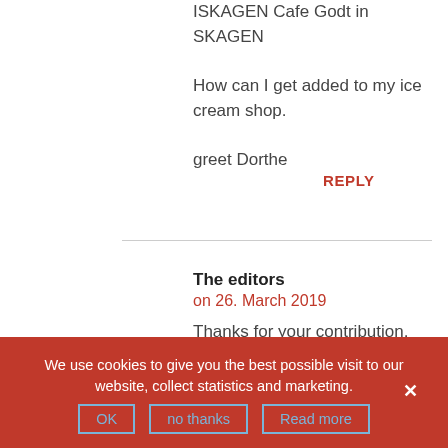ISKAGEN Cafe Godt in SKAGEN
How can I get added to my ice cream shop.
greet Dorthe
REPLY
The editors
on 26. March 2019
Thanks for your contribution, Dorthe.
Hereby added
REPLY
We use cookies to give you the best possible visit to our website, collect statistics and marketing.
OK
no thanks
Read more